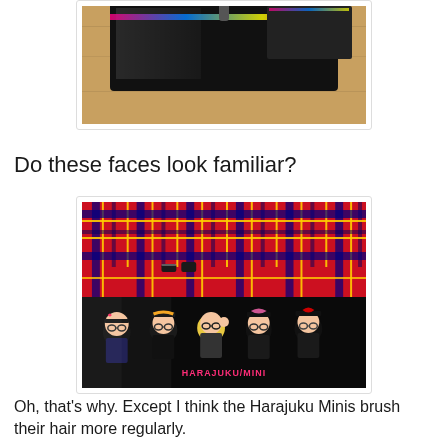[Figure (photo): Partial view of a black Harajuku Mini bag on a wooden floor, showing the top portion with zipper and logo]
Do these faces look familiar?
[Figure (photo): Close-up photo of a Harajuku Mini pencil case/bag showing cartoon character figures with glasses on a black bag with plaid background. The bag has 'HARAJUKU MINI' text in pink letters.]
Oh, that's why. Except I think the Harajuku Minis brush their hair more regularly.